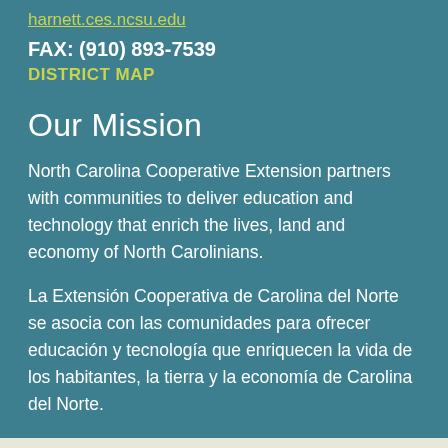harnett.ces.ncsu.edu
FAX: (910) 893-7539
DISTRICT MAP
Our Mission
North Carolina Cooperative Extension partners with communities to deliver education and technology that enrich the lives, land and economy of North Carolinians.
La Extensión Cooperativa de Carolina del Norte se asocia con las comunidades para ofrecer educación y tecnología que enriquecen la vida de los habitantes, la tierra y la economía de Carolina del Norte.